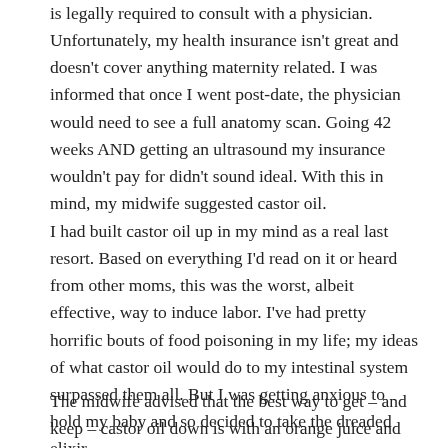is legally required to consult with a physician. Unfortunately, my health insurance isn't great and doesn't cover anything maternity related. I was informed that once I went post-date, the physician would need to see a full anatomy scan. Going 42 weeks AND getting an ultrasound my insurance wouldn't pay for didn't sound ideal. With this in mind, my midwife suggested castor oil.
I had built castor oil up in my mind as a real last resort. Based on everything I'd read on it or heard from other moms, this was the worst, albeit effective, way to induce labor. I've had pretty horrific bouts of food poisoning in my life; my ideas of what castor oil would do to my intestinal system surpassed them all. But I was getting anxious to hold my baby and so decided to take the dreaded elixir.
The midwife advised that the best way to get – and keep – castor oil down is with an orange juice and vanilla ice cream milkshake. Dump a four ounce bottle of castor oil into a